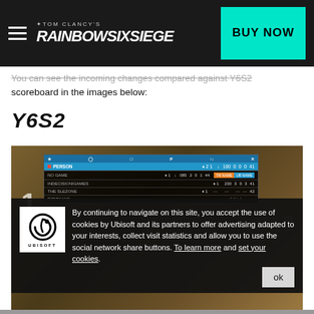RAINBOW SIX SIEGE — BUY NOW
You can see the incoming changes compared against Y6S2 scoreboard in the images below:
Y6S2
[Figure (screenshot): Rainbow Six Siege in-game scoreboard screenshot with multiple player rows showing stats including kills, deaths, and score. Players include PERSON, NO GAME, INDECISIONIGAMES, THE SLEZONE, and others.]
By continuing to navigate on this site, you accept the use of cookies by Ubisoft and its partners to offer advertising adapted to your interests, collect visit statistics and allow you to use the social network share buttons. To learn more and set your cookies.